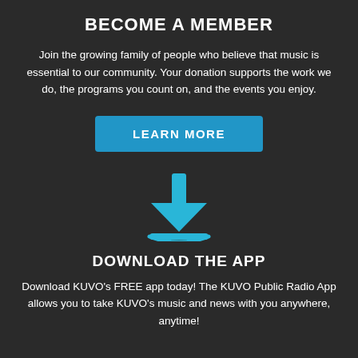BECOME A MEMBER
Join the growing family of people who believe that music is essential to our community. Your donation supports the work we do, the programs you count on, and the events you enjoy.
[Figure (other): Blue rectangular button with text LEARN MORE in white bold uppercase letters]
[Figure (illustration): Blue download icon — a downward arrow above a horizontal line with a curved arc beneath it, rendered in cyan/blue color on dark background]
DOWNLOAD THE APP
Download KUVO's FREE app today! The KUVO Public Radio App allows you to take KUVO's music and news with you anywhere, anytime!